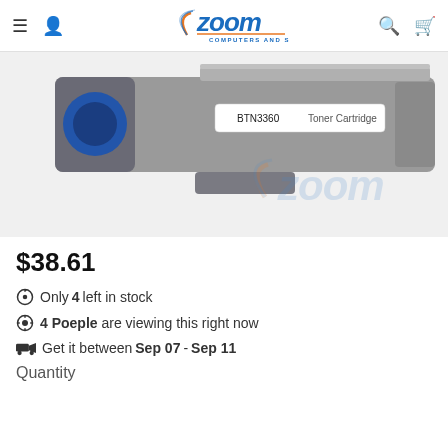Zoom Computers and Services
[Figure (photo): Photo of a BTN3360 Toner Cartridge, gray/black printer toner cartridge with label reading 'BTN3360 Toner Cartridge', with Zoom watermark logo in lower right]
$38.61
Only 4 left in stock
4 Poeple are viewing this right now
Get it between Sep 07 - Sep 11
Quantity